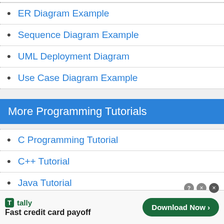ER Diagram Example
Sequence Diagram Example
UML Deployment Diagram
Use Case Diagram Example
More Programming Tutorials
C Programming Tutorial
C++ Tutorial
Java Tutorial
VB.NET Tutorial